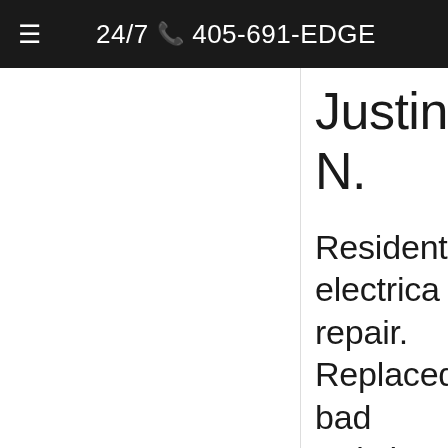≡  24/7 📞 405-691-EDGE
Justin N.
Residential electrical repair. Replaced bad switch. Installed